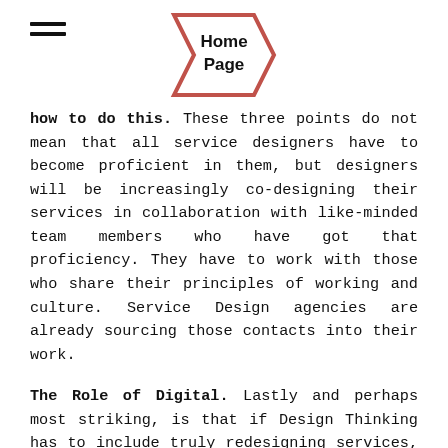Home Page
how to do this. These three points do not mean that all service designers have to become proficient in them, but designers will be increasingly co-designing their services in collaboration with like-minded team members who have got that proficiency. They have to work with those who share their principles of working and culture. Service Design agencies are already sourcing those contacts into their work.
The Role of Digital. Lastly and perhaps most striking, is that if Design Thinking has to include truly redesigning services, designers have to be able to wean themselves off the single minded focus on Digital as being the only means by which to achieve transformation. The transformation of services is far more about people, behaviours, purpose, and the workflow, than it is about any one specialisation. Why